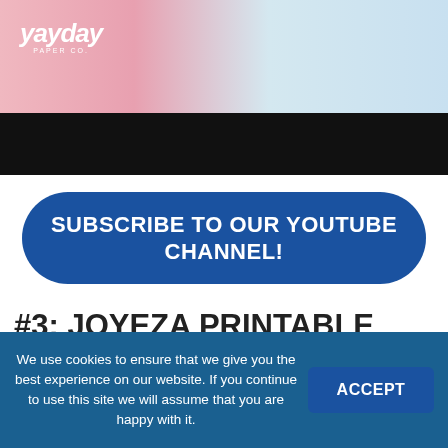[Figure (photo): Top banner image with Yayday Paper Co. logo on a pink/blue background, followed by a black bar below]
SUBSCRIBE TO OUR YOUTUBE CHANNEL!
#3: JOYEZA PRINTABLE VINYL STICKER PAPER
Our third place pick for the best printable sticker paper is the Joyeza Printable Matte Vinyl Sticker Paper. This sticker
We use cookies to ensure that we give you the best experience on our website. If you continue to use this site we will assume that you are happy with it.
ACCEPT